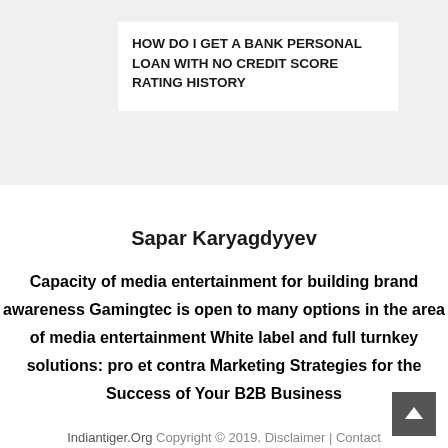HOW DO I GET A BANK PERSONAL LOAN WITH NO CREDIT SCORE RATING HISTORY
Sapar Karyagdyyev
Capacity of media entertainment for building brand awareness
Gamingtec is open to many options in the area of media entertainment
White label and full turnkey solutions: pro et contra
Marketing Strategies for the Success of Your B2B Business
Indiantiger.Org Copyright © 2019. Disclaimer | Contact